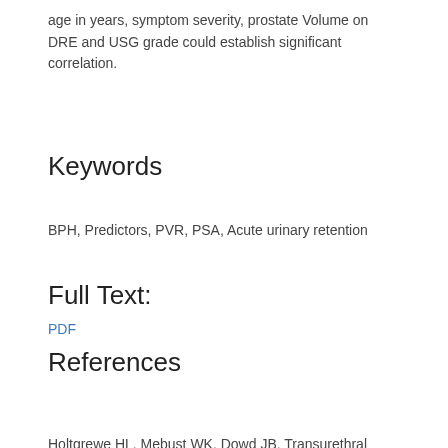age in years, symptom severity, prostate Volume on DRE and USG grade could establish significant correlation.
Keywords
BPH, Predictors, PVR, PSA, Acute urinary retention
Full Text:
PDF
References
Holtgrewe HL, Mebust WK, Dowd JB. Transurethral prostatectomies: practical aspects of the dominant operation in American urology. J